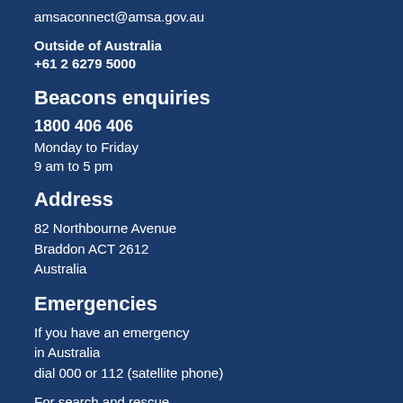amsaconnect@amsa.gov.au
Outside of Australia
+61 2 6279 5000
Beacons enquiries
1800 406 406
Monday to Friday
9 am to 5 pm
Address
82 Northbourne Avenue
Braddon ACT 2612
Australia
Emergencies
If you have an emergency
in Australia
dial 000 or 112 (satellite phone)
For search and rescue
services call our 24-hour contact numbers:
Maritime
+61 2 6230 6811
Aviation